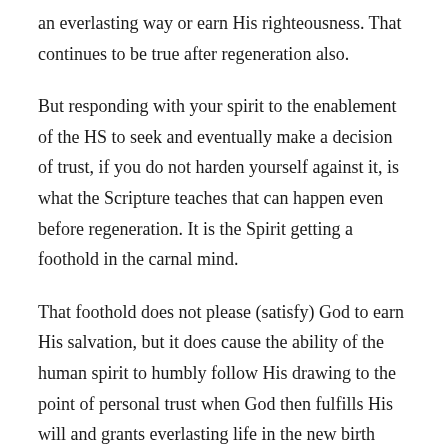an everlasting way or earn His righteousness. That continues to be true after regeneration also.
But responding with your spirit to the enablement of the HS to seek and eventually make a decision of trust, if you do not harden yourself against it, is what the Scripture teaches that can happen even before regeneration. It is the Spirit getting a foothold in the carnal mind.
That foothold does not please (satisfy) God to earn His salvation, but it does cause the ability of the human spirit to humbly follow His drawing to the point of personal trust when God then fulfills His will and grants everlasting life in the new birth through faith. Faith must be in place first for saving grace to go through it.